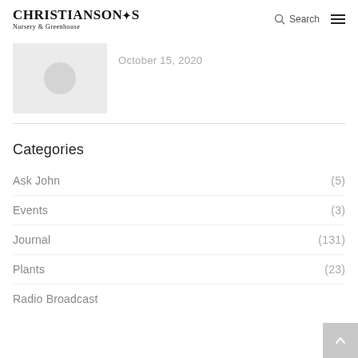CHRISTIANSON'S Nursery & Greenhouse
[Figure (other): Thumbnail placeholder image with gray background and circle icon]
October 15, 2020
Categories
Ask John (5)
Events (3)
Journal (131)
Plants (23)
Radio Broadcast